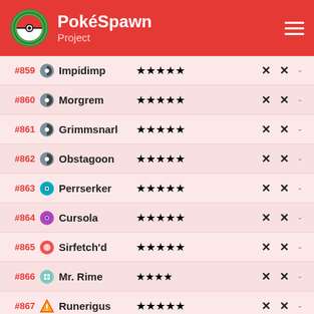PokéSpawn Project
| # | Name | Stars | Col1 | Col2 | Col3 |
| --- | --- | --- | --- | --- | --- |
| #859 | Impidimp | ★★★★★ | ✕ | ✕ | - |
| #860 | Morgrem | ★★★★★ | ✕ | ✕ | - |
| #861 | Grimmsnarl | ★★★★★ | ✕ | ✕ | - |
| #862 | Obstagoon | ★★★★★ | ✕ | ✕ | - |
| #863 | Perrserker | ★★★★★ | ✕ | ✕ | - |
| #864 | Cursola | ★★★★★ | ✕ | ✕ | - |
| #865 | Sirfetch'd | ★★★★★ | ✕ | ✕ | - |
| #866 | Mr. Rime | ★★★★ | ✕ | ✕ | - |
| #867 | Runerigus | ★★★★★ | ✕ | ✕ | - |
| #868 | Milcery | ★★★★★ | ✕ | ✕ |  |